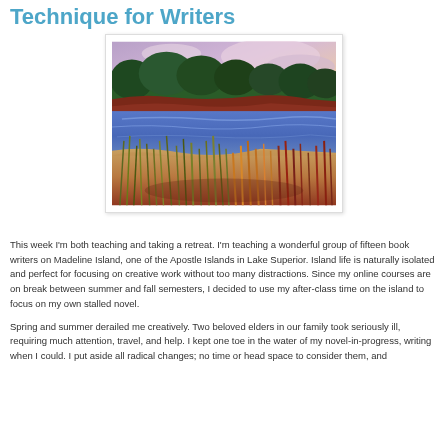Technique for Writers
[Figure (illustration): Pastel painting of a lake shore scene with tall grasses and reeds in the foreground, blue water in the middle, and green trees and a colorful sunset sky in the background. Appears to be Lake Superior near Madeline Island.]
This week I'm both teaching and taking a retreat.  I'm teaching a wonderful group of fifteen book writers on Madeline Island, one of the Apostle Islands in Lake Superior.  Island life is naturally isolated and perfect for focusing on creative work without too many distractions.  Since my online courses are on break between summer and fall semesters, I decided to use my after-class time on the island to focus on my own stalled novel.
Spring and summer derailed me creatively.  Two beloved elders in our family took seriously ill, requiring much attention, travel, and help.  I kept one toe in the water of my novel-in-progress, writing when I could. I put aside all radical changes; no time or head space to consider them, and